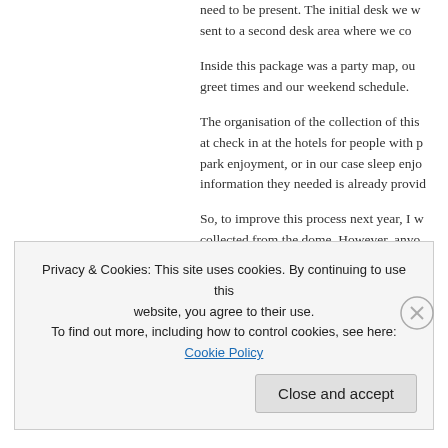need to be present. The initial desk we w... sent to a second desk area where we co...
Inside this package was a party map, ou... greet times and our weekend schedule.
The organisation of the collection of this... at check in at the hotels for people with p... park enjoyment, or in our case sleep enjo... information they needed is already provid...
So, to improve this process next year, I w... collected from the dome. However, anyo... have the convenience of being able to co...
Fandaze Party Night
Privacy & Cookies: This site uses cookies. By continuing to use this website, you agree to their use. To find out more, including how to control cookies, see here: Cookie Policy